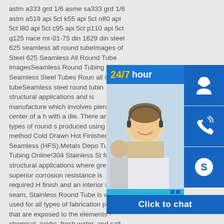astm a333 grd 1/6 asme sa333 grd 1/6 astm a519 api 5ct k55 api 5ct n80 api 5ct l80 api 5ct c95 api 5ct p110 api 5ct q125 nace mr-01-75 din 1629 din steel 625 seamless all round tubeImages of Steel 625 Seamless All Round Tube imagesSeamless Round Tubing Seamless Steel Tubes Roun all round tubeSeamless steel round tubin structural applications and is manufacture which involves piercing the center of a h with a die. There are two types of round s produced using this method Cold Drawn Hot Finished Seamless (HFS).Metals Depo Tube- Buy Tubing Online!304 Stainless St for all structural applications where great superior corrosion resistance is required.H finish and an interior weld seam, Stainless Round Tube is widely used for all types of fabrication projects that are exposed to the elements - chemical, acidic, fresh water, and salt water environments.
[Figure (photo): Customer service representative smiling, wearing headset, in a call center setting]
[Figure (infographic): 24/7 hour service banner with blue background and yellow/white text]
[Figure (infographic): Blue icon box with white headset/person icon]
[Figure (infographic): Blue icon box with white phone/signal icon]
[Figure (infographic): Blue icon box with white Skype icon]
[Figure (infographic): Click to chat button bar in blue]